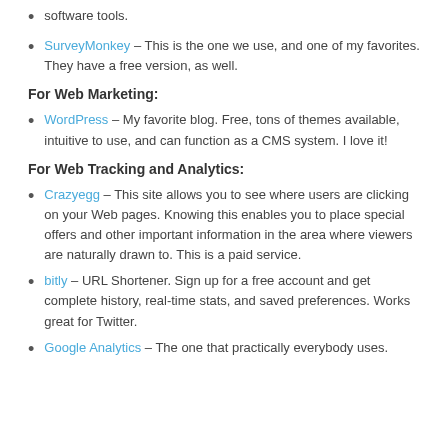software tools.
SurveyMonkey – This is the one we use, and one of my favorites. They have a free version, as well.
For Web Marketing:
WordPress – My favorite blog. Free, tons of themes available, intuitive to use, and can function as a CMS system. I love it!
For Web Tracking and Analytics:
Crazyegg – This site allows you to see where users are clicking on your Web pages. Knowing this enables you to place special offers and other important information in the area where viewers are naturally drawn to. This is a paid service.
bitly – URL Shortener. Sign up for a free account and get complete history, real-time stats, and saved preferences. Works great for Twitter.
Google Analytics – The one that practically everybody uses.